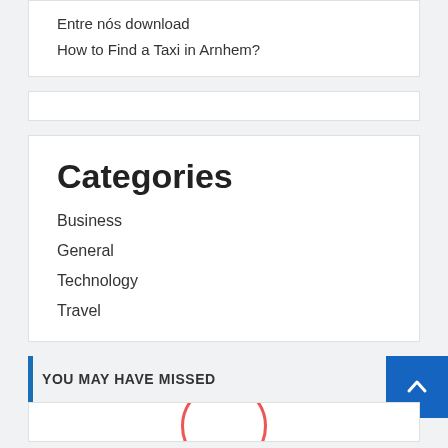Entre nós download
How to Find a Taxi in Arnhem?
Categories
Business
General
Technology
Travel
YOU MAY HAVE MISSED